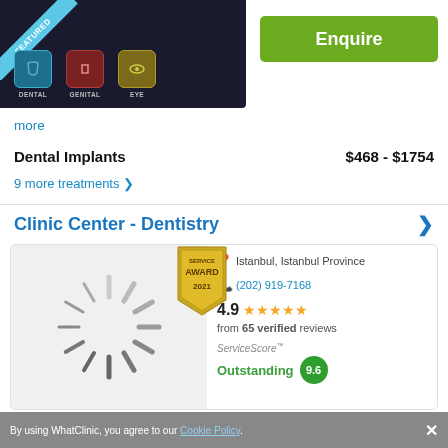[Figure (screenshot): Dark background panel showing dental/genital/eye icons with FEATURED ribbon, and a green Enquire button]
more
Dental Implants   $468 - $1754
9 more treatments >
Clinic Center - Dentistry
[Figure (screenshot): Clinic listing card with loading spinner image, Service Award 2021 badge, Istanbul location, phone number (202) 919-7168, 4.9 star rating from 65 verified reviews, ServiceScore Outstanding 9.6]
By using WhatClinic, you agree to our Cookie Policy. ×